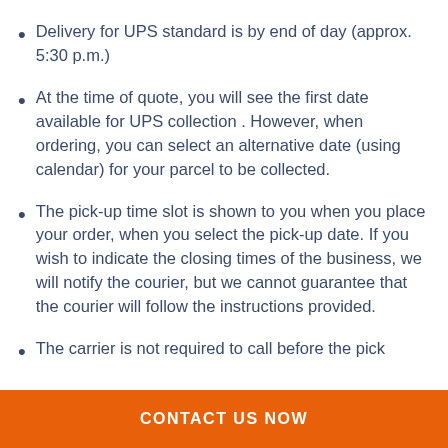Delivery for UPS standard is by end of day (approx. 5:30 p.m.)
At the time of quote, you will see the first date available for UPS collection . However, when ordering, you can select an alternative date (using calendar) for your parcel to be collected.
The pick-up time slot is shown to you when you place your order, when you select the pick-up date. If you wish to indicate the closing times of the business, we will notify the courier, but we cannot guarantee that the courier will follow the instructions provided.
The carrier is not required to call before the pick coincide with that on the bell or the intercom is
CONTACT US NOW